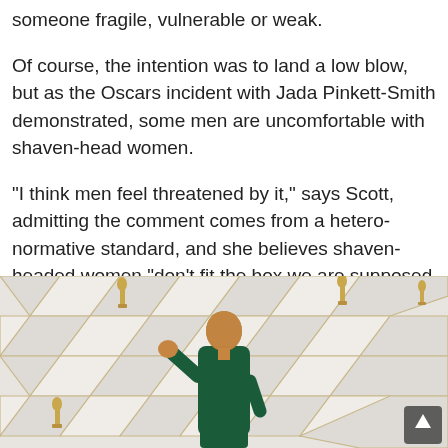someone fragile, vulnerable or weak.
Of course, the intention was to land a low blow, but as the Oscars incident with Jada Pinkett-Smith demonstrated, some men are uncomfortable with shaven-head women.
“I think men feel threatened by it,” says Scott, admitting the comment comes from a hetero-normative standard, and she believes shaven-headed women “don’t fit the box we are supposed to fit in to”.
[Figure (photo): Jada Pinkett-Smith with a shaved head, wearing a dark green dress, waving on the Oscars red carpet in front of a white geometric backdrop with gold Oscar statuette decorations.]